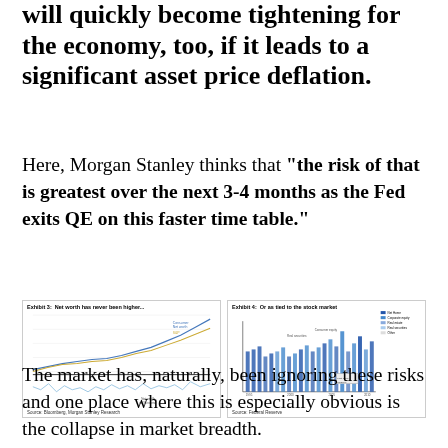will quickly become tightening for the economy, too, if it leads to a significant asset price deflation.
Here, Morgan Stanley thinks that "the risk of that is greatest over the next 3-4 months as the Fed exits QE on this faster time table."
[Figure (continuous-plot): Exhibit 3: Net worth has never been higher... Line chart showing Consumer Net Worth and S&P 500 rising over time, with a lower panel showing a related metric. Source: Bloomberg, Morgan Stanley Research.]
[Figure (continuous-plot): Exhibit 4: Or as tied to the stock market. Stacked bar/area chart showing composition of net worth over time (Net Home, Corporate equity, Real estate, Real securities, Other). Source: Federal Reserve.]
The market has, naturally, been ignoring these risks and one place where this is especially obvious is the collapse in market breadth.